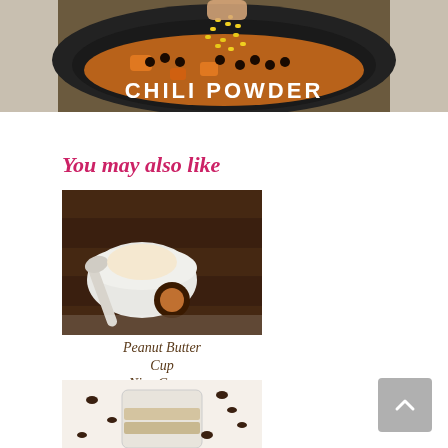[Figure (photo): A crockpot or slow cooker with black beans, corn kernels being poured in, orange/sweet potato pieces, and liquid. The text 'CHILI POWDER' is overlaid in white bold letters.]
You may also like
[Figure (photo): A recipe card image showing a bowl of Peanut Butter Cup Nice Cream with the title text 'Peanut Butter Cup Nice Cream' in decorative serif font over a dark background with peanut butter cups]
Peanut Butter Cup Nice Cream (Vegan)
[Figure (photo): Partial image of a dessert in a glass jar with chocolate chips scattered around, partially visible at bottom of page]